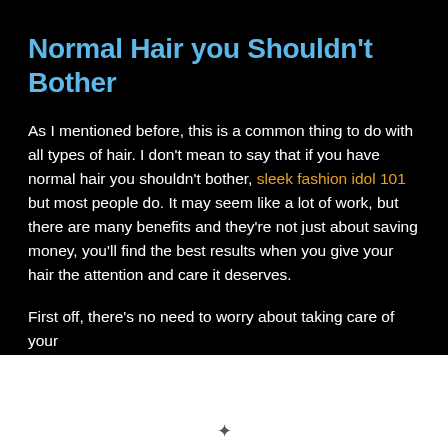Normal Hair you Shouldn't Bother
As I mentioned before, this is a common thing to do with all types of hair. I don't mean to say that if you have normal hair you shouldn't bother, sleek fashion idol 101 but most people do. It may seem like a lot of work, but there are many benefits and they're not just about saving money, you'll find the best results when you give your hair the attention and care it deserves.
First off, there's no need to worry about taking care of your